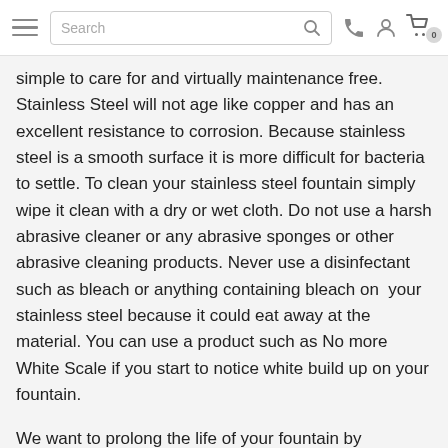Search [search icon] [phone icon] [account icon] [cart icon] 0
simple to care for and virtually maintenance free. Stainless Steel will not age like copper and has an excellent resistance to corrosion.  Because stainless steel is a smooth surface it is more difficult for bacteria to settle. To clean your stainless steel fountain simply wipe it clean with a dry or wet cloth.  Do not use a harsh abrasive cleaner or any abrasive sponges or other abrasive cleaning products.  Never use a disinfectant such as bleach or anything containing bleach on  your stainless steel because it could eat away at the material.  You can use a product such as No more White Scale if you start to notice white build up on your fountain.
We want to prolong the life of your fountain by answering any questions you may have.  If you don't find an answer to your question here, please call one of our fountain